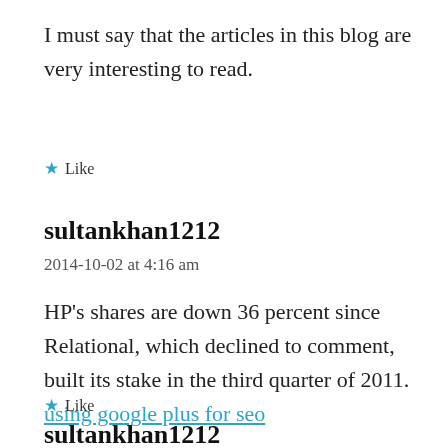I must say that the articles in this blog are very interesting to read.
★ Like
sultankhan1212
2014-10-02 at 4:16 am
HP's shares are down 36 percent since Relational, which declined to comment, built its stake in the third quarter of 2011. using google plus for seo
★ Like
sultankhan1212